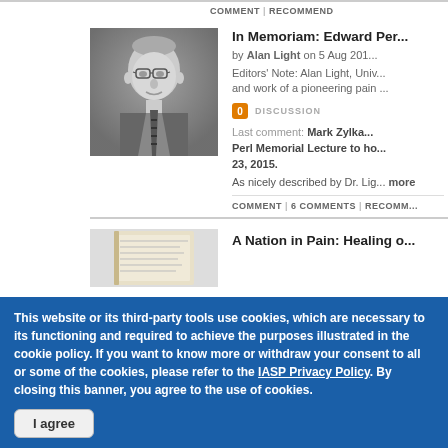COMMENT | RECOMMEND
[Figure (photo): Black and white portrait photo of an elderly man wearing glasses and a suit with a striped tie]
In Memoriam: Edward Per...
by Alan Light on 5 Aug 201...
Editors' Note: Alan Light, Univ... and work of a pioneering pain ...
0 DISCUSSION
Last comment: Mark Zylka...
Perl Memorial Lecture to ho... 23, 2015.
As nicely described by Dr. Lig... more
COMMENT | 6 COMMENTS | RECOMM...
A Nation in Pain: Healing o...
This website or its third-party tools use cookies, which are necessary to its functioning and required to achieve the purposes illustrated in the cookie policy. If you want to know more or withdraw your consent to all or some of the cookies, please refer to the IASP Privacy Policy. By closing this banner, you agree to the use of cookies.
I agree